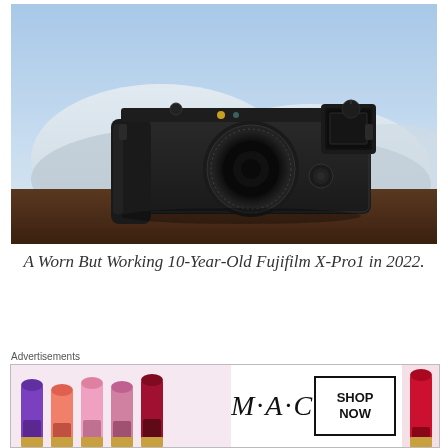[Figure (photo): A black Fujifilm X-Pro1 rangefinder-style camera sitting on a wooden surface with a blurred snowy mountain and blue sky background.]
A Worn But Working 10-Year-Old Fujifilm X-Pro1 in 2022.
The Fujifilm X-Pro1 is 10 years old!
Advertisements
[Figure (illustration): MAC Cosmetics advertisement banner showing colorful lipsticks on the left, MAC logo in italic script in the center, a 'SHOP NOW' box, and a red lipstick on the right.]